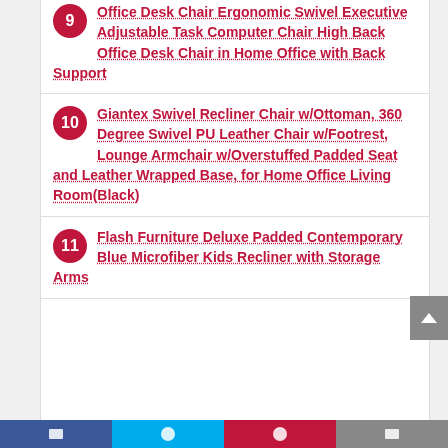9 Office Desk Chair Ergonomic Swivel Executive Adjustable Task Computer Chair High Back Office Desk Chair in Home Office with Back Support
10 Giantex Swivel Recliner Chair w/Ottoman, 360 Degree Swivel PU Leather Chair w/Footrest, Lounge Armchair w/Overstuffed Padded Seat and Leather Wrapped Base, for Home Office Living Room(Black)
11 Flash Furniture Deluxe Padded Contemporary Blue Microfiber Kids Recliner with Storage Arms